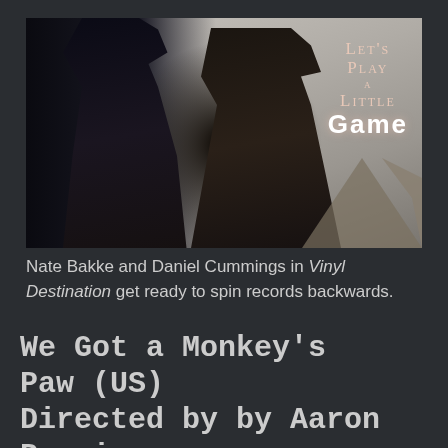[Figure (photo): Two men facing each other in a dark scene with text overlay reading 'Let's Play a Little Game' on the right side against a lighter wall background.]
Nate Bakke and Daniel Cummings in Vinyl Destination get ready to spin records backwards.
We Got a Monkey's Paw (US) Directed by by Aaron Pagniano